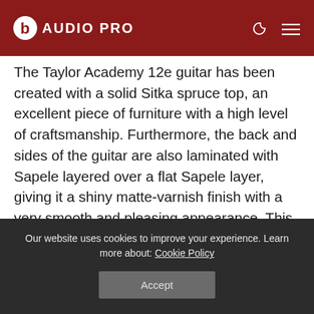AUDIO PRO
The Taylor Academy 12e guitar has been created with a solid Sitka spruce top, an excellent piece of furniture with a high level of craftsmanship. Furthermore, the back and sides of the guitar are also laminated with Sapele layered over a flat Sapele layer, giving it a shiny matte-varnish finish with a very smooth and pleasing appearance. This guitar is pretty plain in terms of its style, but it does have a bevel on the armrest and a
Our website uses cookies to improve your experience. Learn more about: Cookie Policy
Accept